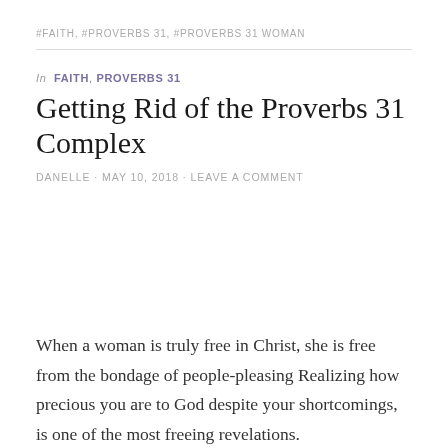#FAITH, #PROVERBS 31, #PROVERBS 31 WOMAN
In FAITH, PROVERBS 31
Getting Rid of the Proverbs 31 Complex
DANELLE · MAY 10, 2018 · LEAVE A COMMENT
When a woman is truly free in Christ, she is free from the bondage of people-pleasing Realizing how precious you are to God despite your shortcomings, is one of the most freeing revelations.